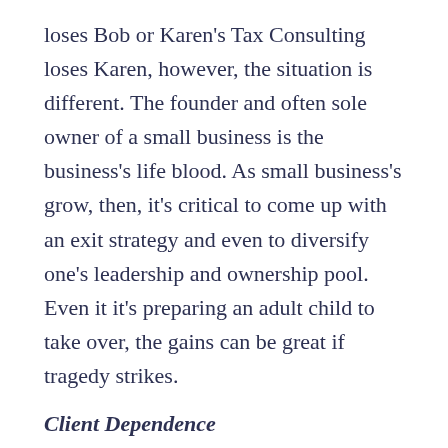loses Bob or Karen's Tax Consulting loses Karen, however, the situation is different. The founder and often sole owner of a small business is the business's life blood. As small business's grow, then, it's critical to come up with an exit strategy and even to diversify one's leadership and ownership pool. Even it it's preparing an adult child to take over, the gains can be great if tragedy strikes.
Client Dependence
Another key issue facing small businesses is client dependence. Some small businesses rely on just one two clients for their income. If the client or clients have a bad quarter, the small business